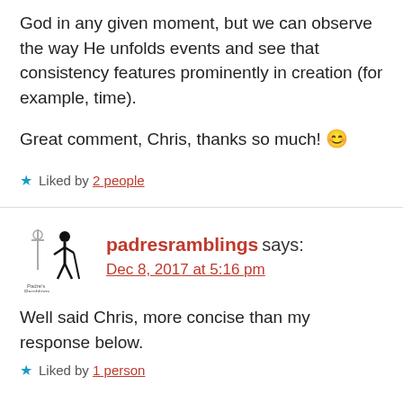God in any given moment, but we can observe the way He unfolds events and see that consistency features prominently in creation (for example, time).
Great comment, Chris, thanks so much! 😊
★ Liked by 2 people
padresramblings says: Dec 8, 2017 at 5:16 pm
Well said Chris, more concise than my response below.
★ Liked by 1 person